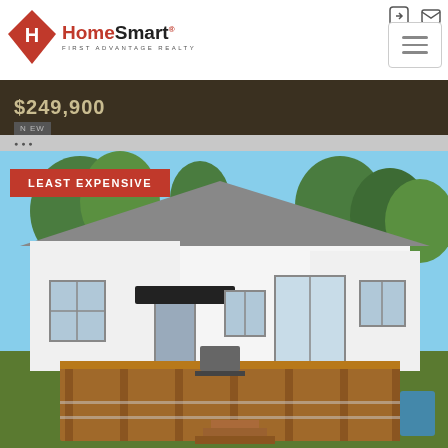[Figure (logo): HomeSmart First Advantage Realty logo with red diamond shape and company name]
$249,900
[Figure (photo): Exterior photo of a white ranch-style house with a large wooden deck and railing, grill on deck, green trees in background, sunny day. Badge reads LEAST EXPENSIVE.]